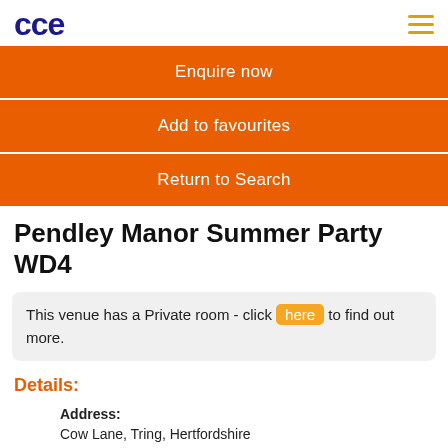CCE logo and navigation
Enquire now
Add to favourites
Return to Search
Pendley Manor Summer Party WD4
This venue has a Private room - click here to find out more.
Details:
Address:
Cow Lane, Tring, Hertfordshire